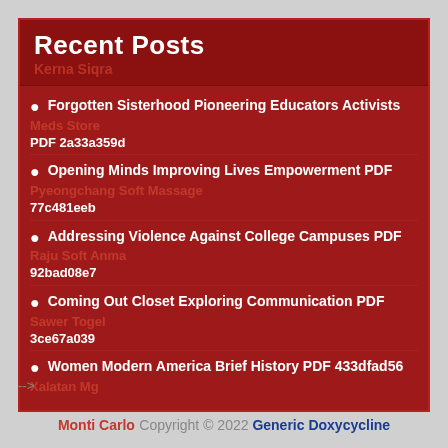Recent Posts
Kerna Siqra
Forgotten Sisterhood Pioneering Educators Activists PDF 2a33a359d
Meds Store
Opening Minds Improving Lives Empowerment PDF 77c481eeb
Pyeongchang Soft Massage
Addressing Violence Against College Campuses PDF 92bad08e7
Raju Soft Anma
Coming Out Closet Exploring Communication PDF 3ce67a039
Sawer Togel
Women Modern America Brief History PDF 433dfad56
Xalatan Mg
-->
Monti Carlo Copyright © 2022 Generic Doxycycline